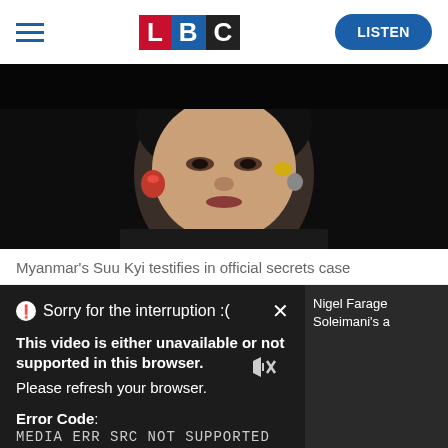[Figure (logo): LBC radio network logo with L in red, B in blue, C in black]
[Figure (photo): Close-up photo of Aung San Suu Kyi against a dark background, wearing earrings]
Myanmar's Suu Kyi testifies in official secrets case
Sorry for the interruption :(
This video is either unavailable or not supported in this browser. Please refresh your browser.
Error Code: MEDIA ERR SRC NOT SUPPORTED
Nigel Farage Soleimani's a